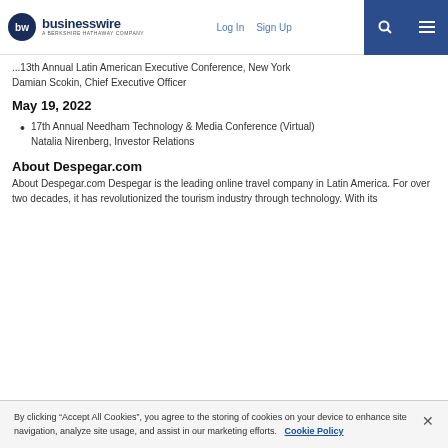businesswire — A BERKSHIRE HATHAWAY COMPANY | Log In | Sign Up
...13th Annual Latin American Executive Conference, New York
Damian Scokin, Chief Executive Officer
May 19, 2022
17th Annual Needham Technology & Media Conference (Virtual)
Natalia Nirenberg, Investor Relations
About Despegar.com
About Despegar.com Despegar is the leading online travel company in Latin America. For over two decades, it has revolutionized the tourism industry through technology. With its
By clicking “Accept All Cookies”, you agree to the storing of cookies on your device to enhance site navigation, analyze site usage, and assist in our marketing efforts.   Cookie Policy